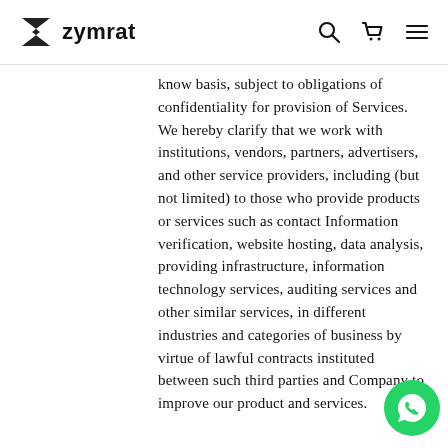zymrat
know basis, subject to obligations of confidentiality for provision of Services. We hereby clarify that we work with institutions, vendors, partners, advertisers, and other service providers, including (but not limited) to those who provide products or services such as contact Information verification, website hosting, data analysis, providing infrastructure, information technology services, auditing services and other similar services, in different industries and categories of business by virtue of lawful contracts instituted between such third parties and Company to improve our product and services.